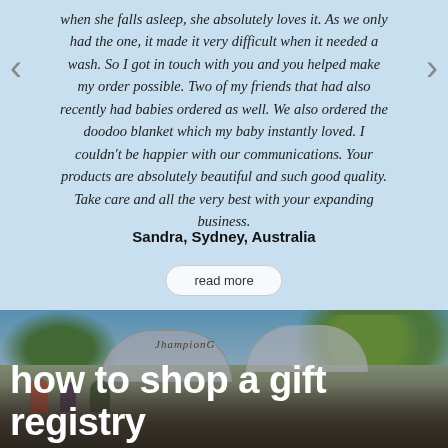when she falls asleep, she absolutely loves it. As we only had the one, it made it very difficult when it needed a wash. So I got in touch with you and you helped make my order possible. Two of my friends that had also recently had babies ordered as well. We also ordered the doodoo blanket which my baby instantly loved. I couldn't be happier with our communications. Your products are absolutely beautiful and such good quality. Take care and all the very best with your expanding business.
Sandra, Sydney, Australia
read more
[Figure (photo): Outdoor market or event scene with trees, umbrellas, and people, overlaid with white text]
how to shop a gift registry